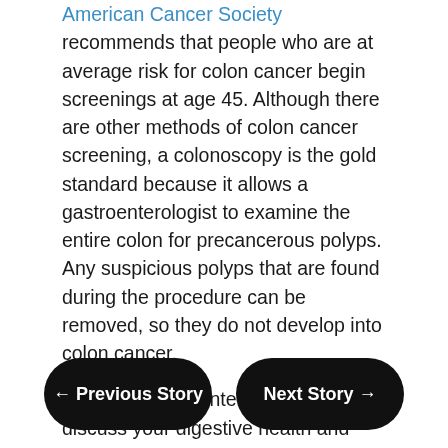American Cancer Society recommends that people who are at average risk for colon cancer begin screenings at age 45. Although there are other methods of colon cancer screening, a colonoscopy is the gold standard because it allows a gastroenterologist to examine the entire colon for precancerous polyps. Any suspicious polyps that are found during the procedure can be removed, so they do not develop into colon cancer.
Call your gastroenterologist to discuss your digestive health and schedule a colonoscopy. A healthy colon makes a healthier YOU.